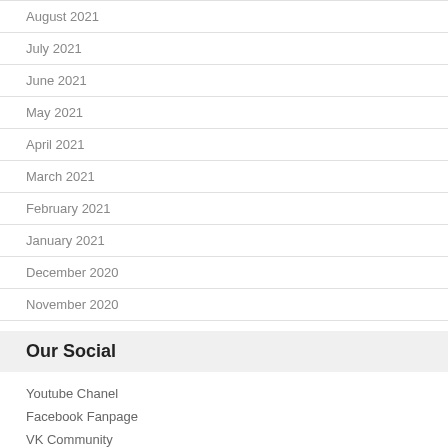August 2021
July 2021
June 2021
May 2021
April 2021
March 2021
February 2021
January 2021
December 2020
November 2020
Our Social
Youtube Chanel
Facebook Fanpage
VK Community